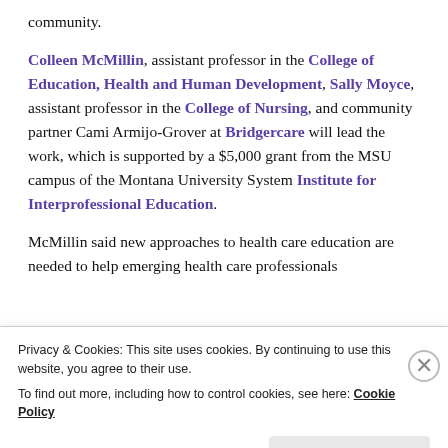community.
Colleen McMillin, assistant professor in the College of Education, Health and Human Development, Sally Moyce, assistant professor in the College of Nursing, and community partner Cami Armijo-Grover at Bridgercare will lead the work, which is supported by a $5,000 grant from the MSU campus of the Montana University System Institute for Interprofessional Education.
McMillin said new approaches to health care education are needed to help emerging health care professionals
Privacy & Cookies: This site uses cookies. By continuing to use this website, you agree to their use. To find out more, including how to control cookies, see here: Cookie Policy